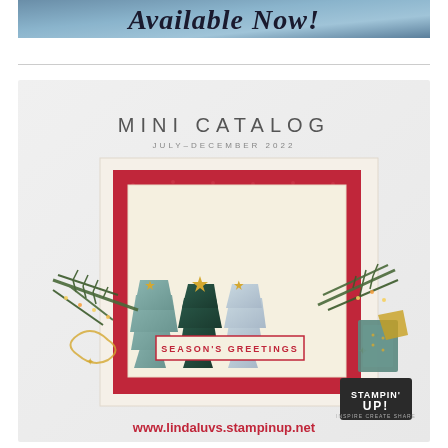[Figure (illustration): Banner image with script text reading 'Available Now!' on a blue/teal gradient background]
[Figure (illustration): Stampin' Up Mini Catalog July-December 2022 cover image showing a Christmas card with three decorated trees, greenery, and 'SEASON'S GREETINGS' text, with Stampin' Up logo and website www.lindaluvs.stampinup.net]